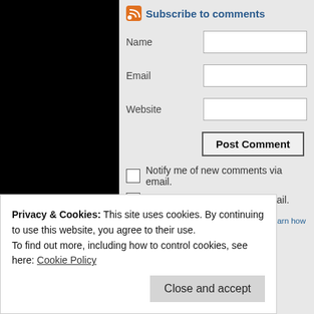Subscribe to comments
Name
Email
Website
Post Comment
Notify me of new comments via email.
Notify me of new posts via email.
This site uses Akismet to reduce spam. Learn how your comment data is proce…
Privacy & Cookies: This site uses cookies. By continuing to use this website, you agree to their use.
To find out more, including how to control cookies, see here: Cookie Policy
Close and accept